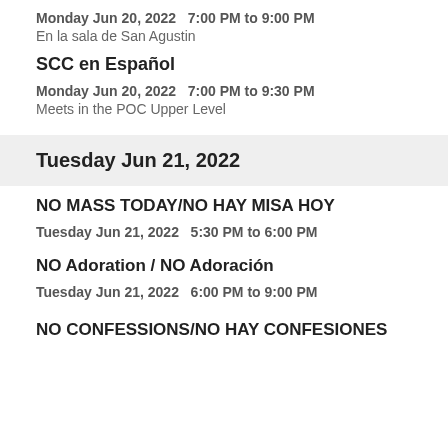Monday Jun 20, 2022   7:00 PM to 9:00 PM
En la sala de San Agustin
SCC en Español
Monday Jun 20, 2022   7:00 PM to 9:30 PM
Meets in the POC Upper Level
Tuesday Jun 21, 2022
NO MASS TODAY/NO HAY MISA HOY
Tuesday Jun 21, 2022   5:30 PM to 6:00 PM
NO Adoration / NO Adoración
Tuesday Jun 21, 2022   6:00 PM to 9:00 PM
NO CONFESSIONS/NO HAY CONFESIONES